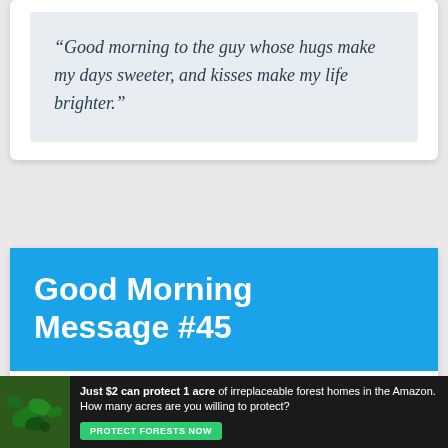“Good morning to the guy whose hugs make my days sweeter, and kisses make my life brighter.”
Good Morning Message #45
“The alarm clock went off, and I got up. Before I could think of
[Figure (infographic): Advertisement banner: dark background with forest/leaves image on left. Text reads 'Just $2 can protect 1 acre of irreplaceable forest homes in the Amazon. How many acres are you willing to protect?' with a green 'PROTECT FORESTS NOW' button.]